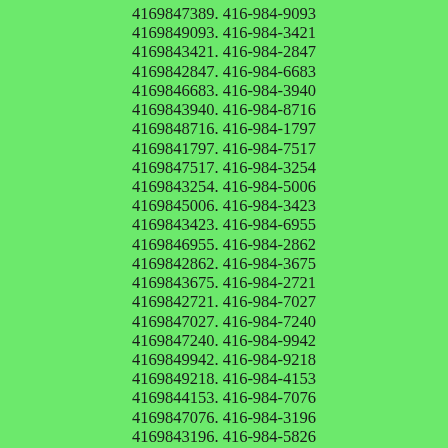4169847389. 416-984-9093
4169849093. 416-984-3421
4169843421. 416-984-2847
4169842847. 416-984-6683
4169846683. 416-984-3940
4169843940. 416-984-8716
4169848716. 416-984-1797
4169841797. 416-984-7517
4169847517. 416-984-3254
4169843254. 416-984-5006
4169845006. 416-984-3423
4169843423. 416-984-6955
4169846955. 416-984-2862
4169842862. 416-984-3675
4169843675. 416-984-2721
4169842721. 416-984-7027
4169847027. 416-984-7240
4169847240. 416-984-9942
4169849942. 416-984-9218
4169849218. 416-984-4153
4169844153. 416-984-7076
4169847076. 416-984-3196
4169843196. 416-984-5826
4169845826. 416-984-9123
4169849123. 416-984-0517 Caller Name